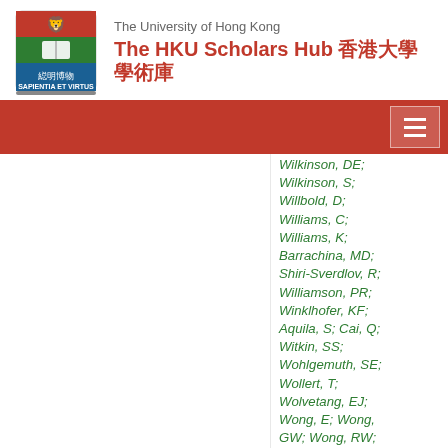The University of Hong Kong — The HKU Scholars Hub 香港大學學術庫
Wilkinson, DE; Wilkinson, S; Willbold, D; Williams, C; Williams, K; Barrachina, MD; Shiri-Sverdlov, R; Williamson, PR; Winklhofer, KF; Aquila, S; Cai, Q; Witkin, SS; Wohlgemuth, SE; Wollert, T; Wolvetang, EJ; Wong, E; Wong, GW; Wong, RW; Shirihai, O; Lanzi, C; Fingert, JH;